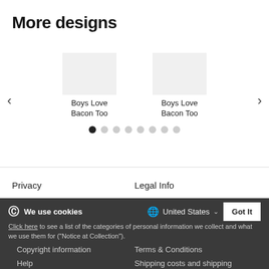More designs
[Figure (other): Carousel showing product thumbnails labeled 'Boys Love Bacon Too' with left/right navigation arrows and 8 pagination dots]
Privacy
Legal Info
We use cookies
United States
Got It
Click here to see a list of the categories of personal information we collect and what we use them for ("Notice at Collection").
Copyright information
Terms & Conditions
Help
Shipping costs and shipping times
Privacy Policy
Do Not Sell My Personal Information
By using this website, I agree to the Terms and Conditions
oupport.com